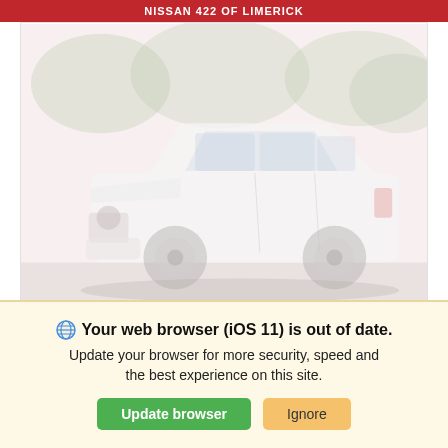NISSAN 422 OF LIMERICK
[Figure (photo): A white Nissan SUV (Pathfinder) photographed in a driveway with trees in background. Image is heavily washed out/faded.]
STOCK#: LN1053    VIN: 5N1DR3CC2NC262277
Your web browser (iOS 11) is out of date. Update your browser for more security, speed and the best experience on this site. Update browser  Ignore